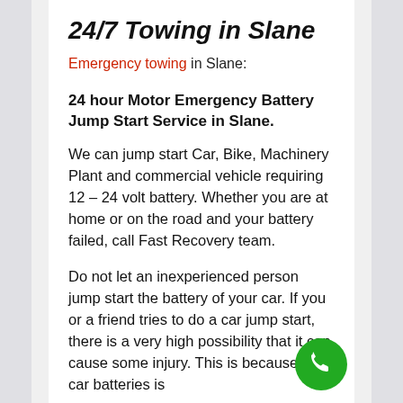24/7 Towing in Slane
Emergency towing in Slane:
24 hour Motor Emergency Battery Jump Start Service in Slane.
We can jump start Car, Bike, Machinery Plant and commercial vehicle requiring 12 – 24 volt battery. Whether you are at home or on the road and your battery failed, call Fast Recovery team.
Do not let an inexperienced person jump start the battery of your car. If you or a friend tries to do a car jump start, there is a very high possibility that it can cause some injury. This is because the car batteries is